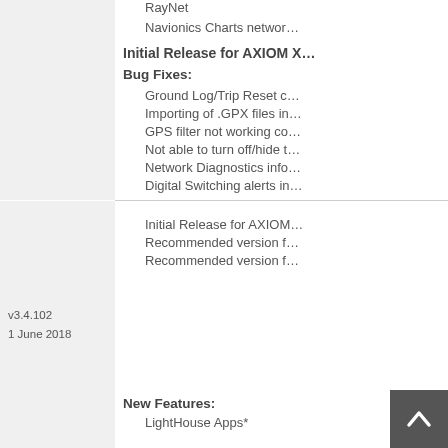RayNet
Navionics Charts networ…
Initial Release for AXIOM X…
Bug Fixes:
Ground Log/Trip Reset c…
Importing of .GPX files in…
GPS filter not working co…
Not able to turn off/hide t…
Network Diagnostics info…
Digital Switching alerts in…
*AXIOM/AXIOM-PRO/AXI…
v3.4.102    1 June 2018
Initial Release for AXIOM…
Recommended version f…
Recommended version f…
New Features:
LightHouse Apps*